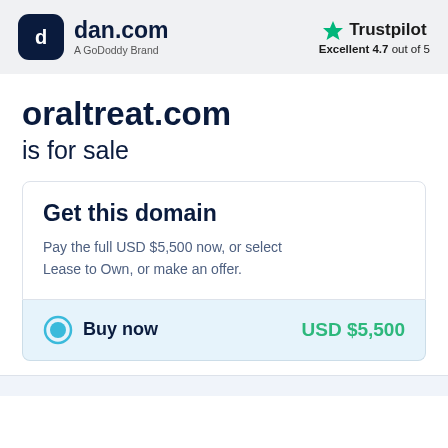dan.com — A GoDaddy Brand | Trustpilot Excellent 4.7 out of 5
oraltreat.com is for sale
Get this domain
Pay the full USD $5,500 now, or select Lease to Own, or make an offer.
Buy now   USD $5,500